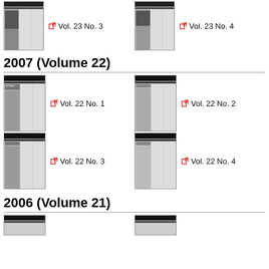[Figure (other): Thumbnail of Mammoth Trumpet Vol. 23 No. 3 newsletter cover]
Vol. 23 No. 3
[Figure (other): Thumbnail of Mammoth Trumpet Vol. 23 No. 4 newsletter cover]
Vol. 23 No. 4
2007 (Volume 22)
[Figure (other): Thumbnail of Mammoth Trumpet Vol. 22 No. 1 newsletter cover featuring Ted Goebel]
Vol. 22 No. 1
[Figure (other): Thumbnail of Mammoth Trumpet Vol. 22 No. 2 newsletter cover featuring Pleistocene human colonization of Beringia]
Vol. 22 No. 2
[Figure (other): Thumbnail of Mammoth Trumpet Vol. 22 No. 3 newsletter cover featuring Elvis DeLarmond]
Vol. 22 No. 3
[Figure (other): Thumbnail of Mammoth Trumpet Vol. 22 No. 4 newsletter cover featuring Elvis DeLarmond]
Vol. 22 No. 4
2006 (Volume 21)
[Figure (other): Thumbnail of Mammoth Trumpet Vol. 21 newsletter cover (partial)]
[Figure (other): Thumbnail of Mammoth Trumpet second Vol. 21 newsletter cover (partial)]